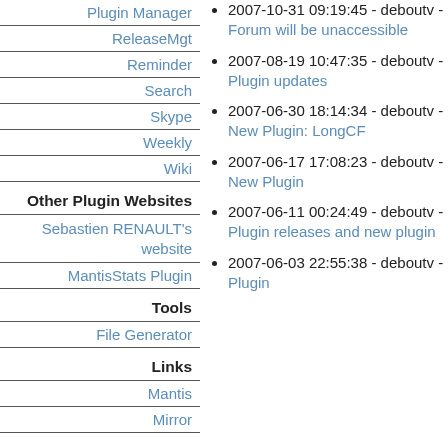Plugin Manager
ReleaseMgt
Reminder
Search
Skype
Weekly
Wiki
Other Plugin Websites
Sebastien RENAULT's website
MantisStats Plugin
Tools
File Generator
Links
Mantis
Mirror
2007-10-31 09:19:45 - deboutv - Forum will be unaccessible
2007-08-19 10:47:35 - deboutv - Plugin updates
2007-06-30 18:14:34 - deboutv - New Plugin: LongCF
2007-06-17 17:08:23 - deboutv - New Plugin
2007-06-11 00:24:49 - deboutv - Plugin releases and new plugin
2007-06-03 22:55:38 - deboutv - Plugin